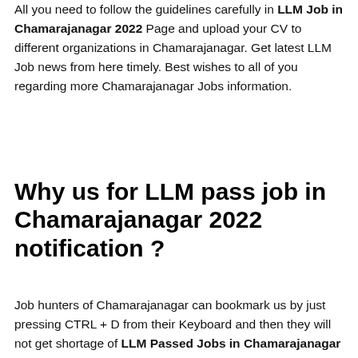All you need to follow the guidelines carefully in LLM Job in Chamarajanagar 2022 Page and upload your CV to different organizations in Chamarajanagar. Get latest LLM Job news from here timely. Best wishes to all of you regarding more Chamarajanagar Jobs information.
Why us for LLM pass job in Chamarajanagar 2022 notification ?
Job hunters of Chamarajanagar can bookmark us by just pressing CTRL + D from their Keyboard and then they will not get shortage of LLM Passed Jobs in Chamarajanagar 2022 availability. As we